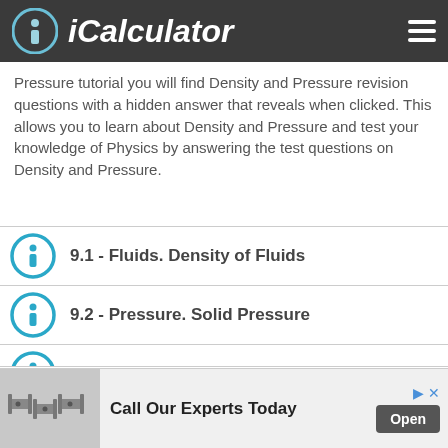iCalculator
Pressure tutorial you will find Density and Pressure revision questions with a hidden answer that reveals when clicked. This allows you to learn about Density and Pressure and test your knowledge of Physics by answering the test questions on Density and Pressure.
9.1 - Fluids. Density of Fluids
9.2 - Pressure. Solid Pressure
9.3 - Liquid Pressure. Pascal's Principle
9.4 - Gas Pressure
[Figure (screenshot): Advertisement banner showing metal bracket hardware with text 'Call Our Experts Today' and an Open button]